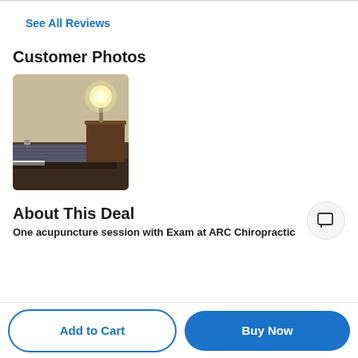See All Reviews
Customer Photos
[Figure (photo): Interior room photo showing a massage/treatment table with dark grey covering, a bedside table with a glowing lamp, and beige walls. Appears to be a chiropractic or acupuncture treatment room.]
About This Deal
One acupuncture session with Exam at ARC Chiropractic
Add to Cart
Buy Now